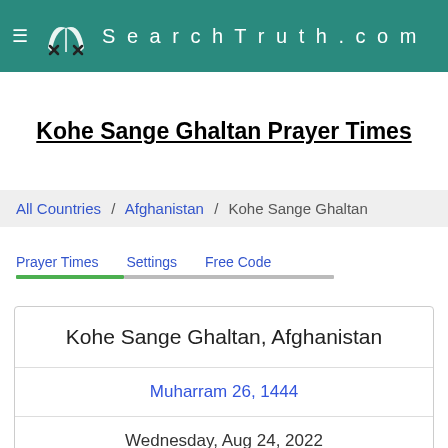SearchTruth.com
Kohe Sange Ghaltan Prayer Times
All Countries / Afghanistan / Kohe Sange Ghaltan
Prayer Times   Settings   Free Code
Kohe Sange Ghaltan, Afghanistan
Muharram 26, 1444
Wednesday, Aug 24, 2022